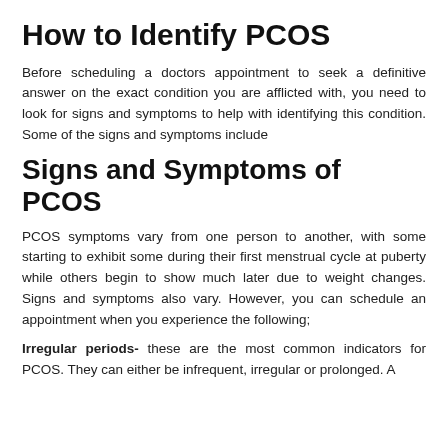How to Identify PCOS
Before scheduling a doctors appointment to seek a definitive answer on the exact condition you are afflicted with, you need to look for signs and symptoms to help with identifying this condition. Some of the signs and symptoms include
Signs and Symptoms of PCOS
PCOS symptoms vary from one person to another, with some starting to exhibit some during their first menstrual cycle at puberty while others begin to show much later due to weight changes. Signs and symptoms also vary. However, you can schedule an appointment when you experience the following;
Irregular periods- these are the most common indicators for PCOS. They can either be infrequent, irregular or prolonged. A